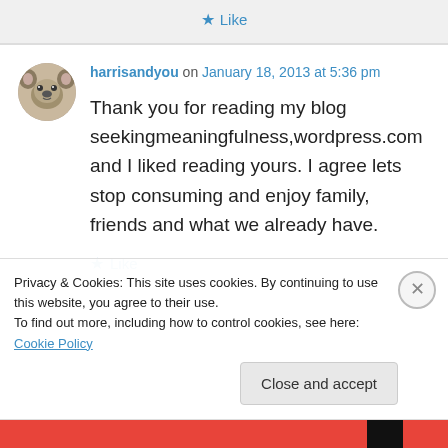★ Like
harrisandyou on January 18, 2013 at 5:36 pm
Thank you for reading my blog seekingmeaningfulness,wordpress.com and I liked reading yours. I agree lets stop consuming and enjoy family, friends and what we already have.
★ Like
Privacy & Cookies: This site uses cookies. By continuing to use this website, you agree to their use.
To find out more, including how to control cookies, see here: Cookie Policy
Close and accept